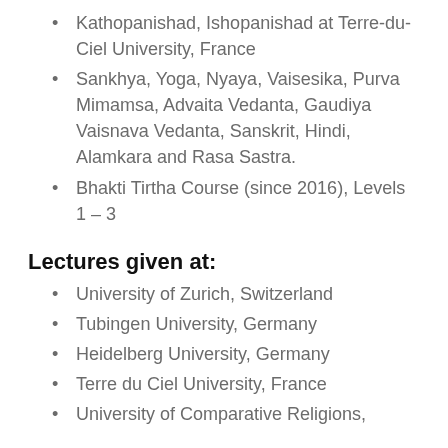Kathopanishad, Ishopanishad at Terre-du-Ciel University, France
Sankhya, Yoga, Nyaya, Vaisesika, Purva Mimamsa, Advaita Vedanta, Gaudiya Vaisnava Vedanta, Sanskrit, Hindi, Alamkara and Rasa Sastra.
Bhakti Tirtha Course (since 2016), Levels 1 – 3
Lectures given at:
University of Zurich, Switzerland
Tubingen University, Germany
Heidelberg University, Germany
Terre du Ciel University, France
University of Comparative Religions,